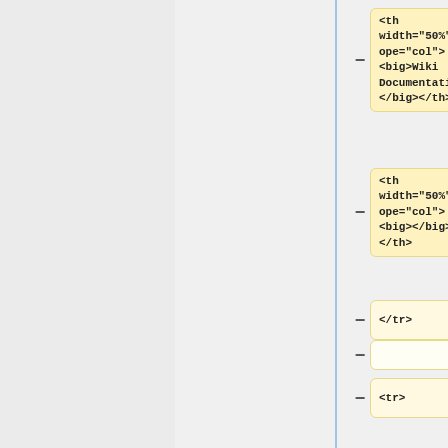[Figure (screenshot): Diff view showing HTML code changes. Left column (yellow) shows removed lines, right column (blue) shows added lines. Rows contain HTML code snippets including th elements, tr elements, and HTML comments about Wiki Documentation.]
<th width="50%"scope="col"><big>Wiki Documentation</big></th>
<th width="50%"scope="col"><big></big></th>
</tr>
<tr>
<!-- Wiki Documentation: Links -->